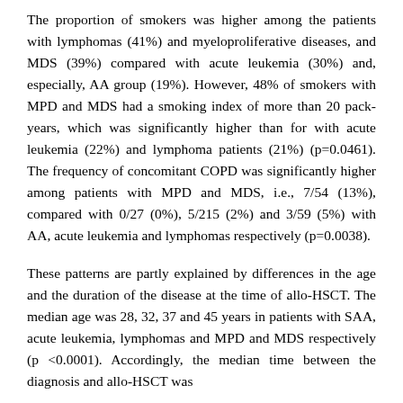The proportion of smokers was higher among the patients with lymphomas (41%) and myeloproliferative diseases, and MDS (39%) compared with acute leukemia (30%) and, especially, AA group (19%). However, 48% of smokers with MPD and MDS had a smoking index of more than 20 pack-years, which was significantly higher than for with acute leukemia (22%) and lymphoma patients (21%) (p=0.0461). The frequency of concomitant COPD was significantly higher among patients with MPD and MDS, i.e., 7/54 (13%), compared with 0/27 (0%), 5/215 (2%) and 3/59 (5%) with AA, acute leukemia and lymphomas respectively (p=0.0038).
These patterns are partly explained by differences in the age and the duration of the disease at the time of allo-HSCT. The median age was 28, 32, 37 and 45 years in patients with SAA, acute leukemia, lymphomas and MPD and MDS respectively (p <0.0001). Accordingly, the median time between the diagnosis and allo-HSCT was